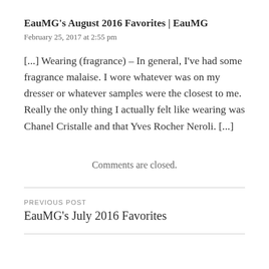EauMG’s August 2016 Favorites | EauMG
February 25, 2017 at 2:55 pm
[...] Wearing (fragrance) – In general, I’ve had some fragrance malaise. I wore whatever was on my dresser or whatever samples were the closest to me. Really the only thing I actually felt like wearing was Chanel Cristalle and that Yves Rocher Neroli.  [...]
Comments are closed.
PREVIOUS POST
EauMG’s July 2016 Favorites